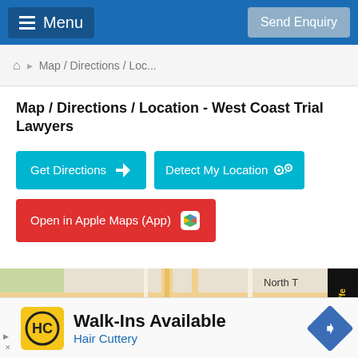Menu | Send Enquiry
Map / Directions / Loc...
Map / Directions / Location - West Coast Trial Lawyers
Get Directions
Detect My Location
Open in Apple Maps (App)
[Figure (map): Street map showing Santa Ana area with Santa Ana Zoo and Tustin labels, North T visible, ESIA PILAR label, highway 5 marked]
We are diffe...
Walk-Ins Available
Hair Cuttery